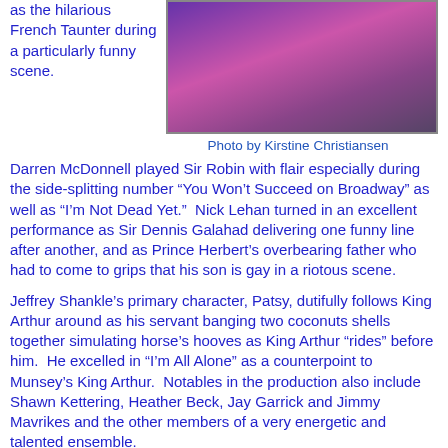as the hilarious French Taunter during a particularly funny scene.
[Figure (photo): A performer on stage with purple/pink stage lighting, dancing or performing in a theatrical production.]
Photo by Kirstine Christiansen
Darren McDonnell played Sir Robin with flair especially during the side-splitting number “You Won’t Succeed on Broadway” as well as “I’m Not Dead Yet.”  Nick Lehan turned in an excellent performance as Sir Dennis Galahad delivering one funny line after another, and as Prince Herbert’s overbearing father who had to come to grips that his son is gay in a riotous scene.
Jeffrey Shankle’s primary character, Patsy, dutifully follows King Arthur around as his servant banging two coconuts shells together simulating horse’s hooves as King Arthur “rides” before him.  He excelled in “I’m All Alone” as a counterpoint to Munsey’s King Arthur.  Notables in the production also include Shawn Kettering, Heather Beck, Jay Garrick and Jimmy Mavrikes and the other members of a very energetic and talented ensemble.